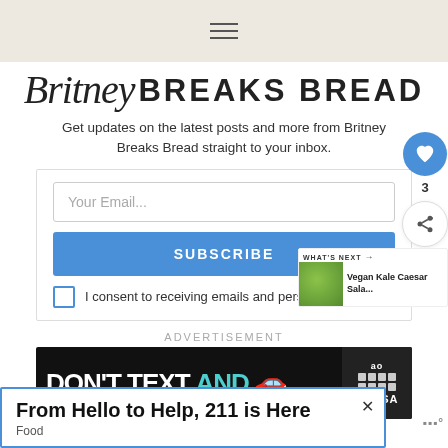☰
Britney BREAKS BREAD
Get updates on the latest posts and more from Britney Breaks Bread straight to your inbox.
Your Email...
SUBSCRIBE
I consent to receiving emails and personalized ads.
ADVERTISEMENT
[Figure (screenshot): Ad banner: DON'T TEXT AND with car emoji, NHTSA logo]
[Figure (screenshot): What's Next panel: Vegan Kale Caesar Sala... with food image]
From Hello to Help, 211 is Here
Food